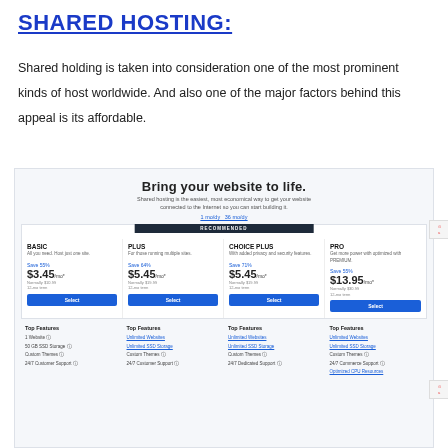SHARED HOSTING:
Shared holding is taken into consideration one of the most prominent kinds of host worldwide. And also one of the major factors behind this appeal is its affordable.
[Figure (screenshot): Screenshot of a web hosting pricing page titled 'Bring your website to life.' showing four shared hosting plans: BASIC ($3.45/mo, Save 55%), PLUS ($5.45/mo, Save 64%), CHOICE PLUS ($5.45/mo, Save 71%), PRO ($13.95/mo, Save 55%), each with a Select button and top features listed below including Unlimited Websites, Unlimited SSD Storage, Custom Themes, 24/7 Customer Support, Optimized CPU Resources.]